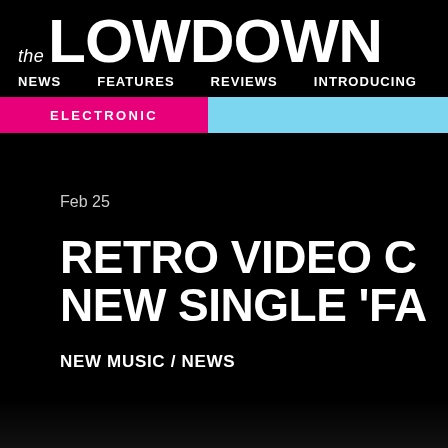the LOWDOWN
NEWS   FEATURES   REVIEWS   INTRODUCING
ELECTRONIC
Feb 25
RETRO VIDEO C… NEW SINGLE 'FA…
NEW MUSIC / NEWS